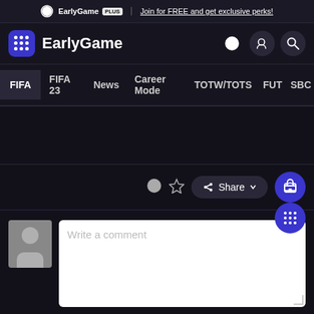EarlyGame PLUS | Join for FREE and get exclusive perks!
EarlyGame
FIFA  FIFA 23  News  Career Mode  TOTW/TOTS  FUT  SBC
Share
Write a comment